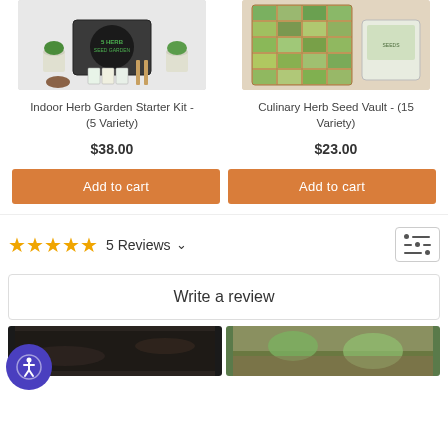[Figure (photo): Indoor Herb Garden Starter Kit product photo - kit box with herb pots and seed packets]
[Figure (photo): Culinary Herb Seed Vault product photo - seed packets displayed in grid with bag]
Indoor Herb Garden Starter Kit - (5 Variety)
Culinary Herb Seed Vault - (15 Variety)
$38.00
$23.00
Add to cart
Add to cart
5 Reviews
Write a review
[Figure (photo): Dark soil/garden photo thumbnail]
[Figure (photo): Green plant/herb seedlings on wooden surface thumbnail]